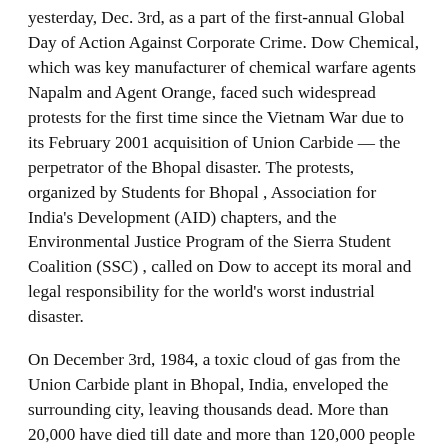yesterday, Dec. 3rd, as a part of the first-annual Global Day of Action Against Corporate Crime. Dow Chemical, which was key manufacturer of chemical warfare agents Napalm and Agent Orange, faced such widespread protests for the first time since the Vietnam War due to its February 2001 acquisition of Union Carbide — the perpetrator of the Bhopal disaster. The protests, organized by Students for Bhopal , Association for India's Development (AID) chapters, and the Environmental Justice Program of the Sierra Student Coalition (SSC) , called on Dow to accept its moral and legal responsibility for the world's worst industrial disaster.
On December 3rd, 1984, a toxic cloud of gas from the Union Carbide plant in Bhopal, India, enveloped the surrounding city, leaving thousands dead. More than 20,000 have died till date and more than 120,000 people still suffer from severe health problems as a result of their exposure. Chemicals and heavy metals that Union Carbide abandoned at the site—including mercury, trichloroethene, chloroform, and lead—have